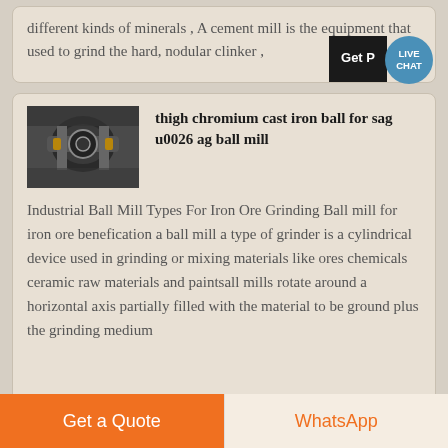different kinds of minerals , A cement mill is the equipment that used to grind the hard, nodular clinker ,
[Figure (screenshot): Get Price / Live Chat button overlay in top-right of card]
[Figure (photo): Industrial ball mill machinery photograph]
thigh chromium cast iron ball for sag u0026 ag ball mill
Industrial Ball Mill Types For Iron Ore Grinding Ball mill for iron ore benefication a ball mill a type of grinder is a cylindrical device used in grinding or mixing materials like ores chemicals ceramic raw materials and paintsall mills rotate around a horizontal axis partially filled with the material to be ground plus the grinding medium
Get a Quote
WhatsApp